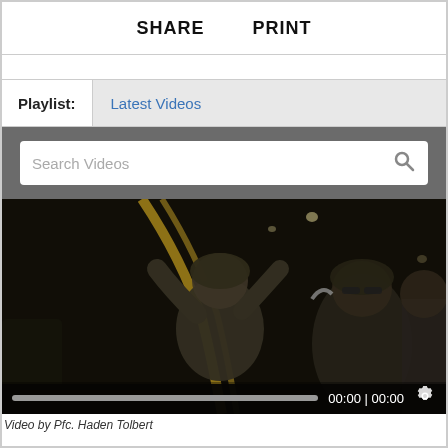SHARE   PRINT
Playlist:  Latest Videos
Search Videos
[Figure (photo): Military personnel inside an aircraft cargo hold, viewed from behind. Soldiers in combat gear with equipment visible. Dark interior lighting.]
Video by Pfc. Haden Tolbert